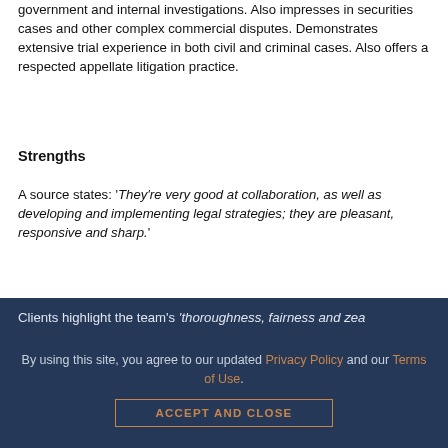government and internal investigations. Also impresses in securities cases and other complex commercial disputes. Demonstrates extensive trial experience in both civil and criminal cases. Also offers a respected appellate litigation practice.
Strengths
A source states: 'They're very good at collaboration, as well as developing and implementing legal strategies; they are pleasant, responsive and sharp.'
Clients highlight the team's 'thoroughness, fairness and zeal'.
By using this site, you agree to our updated Privacy Policy and our Terms of Use.
ACCEPT AND CLOSE
'They communicate very clearly, are incredibly efficient, and handle all of my work in a timely matter without compromising any detail,' comments one interviewee, adding: 'I can rely on each of them for their individual